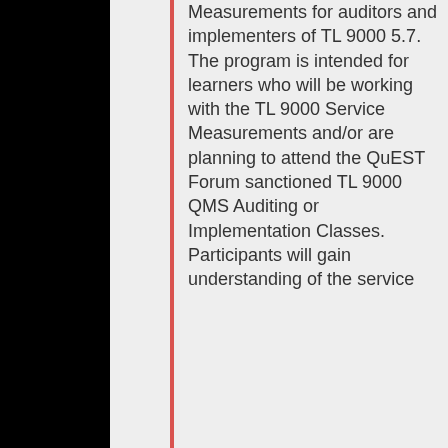Measurements for auditors and implementers of TL 9000 5.7. The program is intended for learners who will be working with the TL 9000 Service Measurements and/or are planning to attend the QuEST Forum sanctioned TL 9000 QMS Auditing or Implementation Classes. Participants will gain understanding of the service